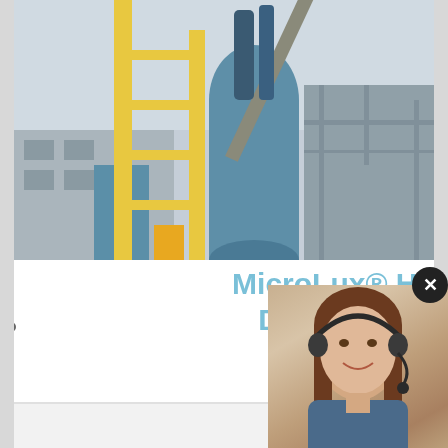[Figure (photo): Industrial facility with yellow crane structure, blue silo, and industrial buildings in the background. Gray sky.]
MicroLux® High Precision Heavy-Duty R8 Miniature Milli
MicroLux® High-Precision Heavy-Duty R8 Miniature ... LOWEST PRICE OF THE SEASON!!The only "TRUE" ... of its kind on the market!The feature-packed design ... construction of the MicroLux® Milling Machine makes...
[Figure (photo): Customer service representative woman with headset smiling, overlaid on dark navy blue panel with Have any requests, click here text, Quotation button, Enquiry link, and limingjlmofen@sina.com email. Close X button in top right.]
Have any requests, click here.
Quotation
Enquiry
limingjlmofen@sina.com